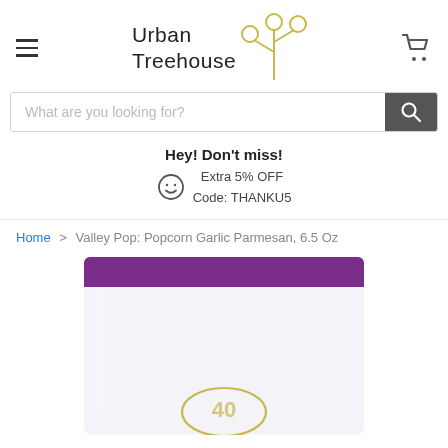Urban Treehouse
What are you looking for?
Hey! Don't miss!
Extra 5% OFF
Code: THANKU5
Home > Valley Pop: Popcorn Garlic Parmesan, 6.5 Oz
[Figure (photo): Bottom portion of a product bag with purple zipper seal containing Valley Pop Popcorn Garlic Parmesan 6.5 oz, with logo visible at the bottom.]